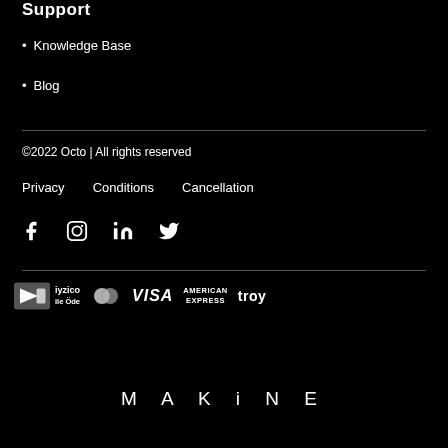Support
Knowledge Base
Blog
©2022 Octo | All rights reserved
Privacy   Conditions   Cancellation
[Figure (other): Social media icons: Facebook, Instagram, LinkedIn, Twitter]
[Figure (other): Payment logos: iyzico ile Öde, Mastercard, VISA, American Express, troy]
M A K i N E